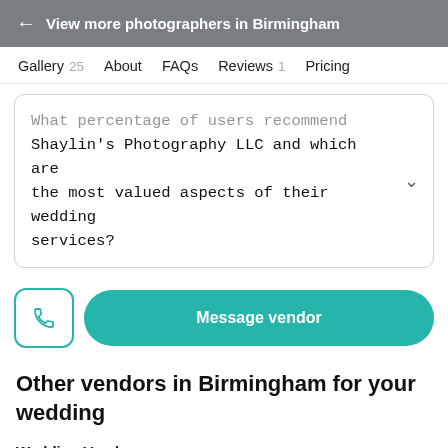← View more photographers in Birmingham
Gallery 25   About   FAQs   Reviews 1   Pricing
What percentage of users recommend Shaylin's Photography LLC and which are the most valued aspects of their wedding services?
Message vendor
Other vendors in Birmingham for your wedding
Wedding Vendors
Wedding DJs · Wedding Hair & Makeup ·